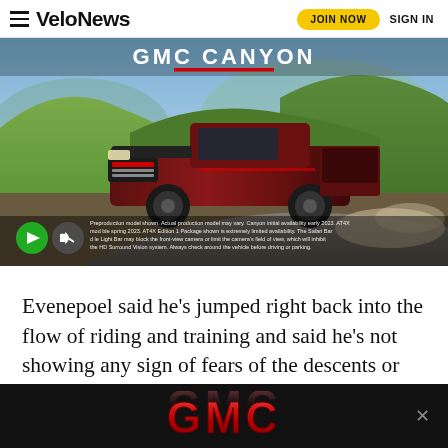VeloNews | JOIN NOW | SIGN IN
[Figure (photo): GMC Canyon truck advertisement showing a dark red pickup truck driving on a dirt mountain road with green hills in the background. Text at top reads GMC CANYON with a red underline. Play and mute buttons visible at bottom left. Disclaimer text at bottom.]
Evenepoel said he’s jumped right back into the flow of riding and training and said he’s not showing any sign of fears of the descents or high-speed descending.
[Figure (logo): GMC logo advertisement in red metallic letters on dark background with close/X button on the right]